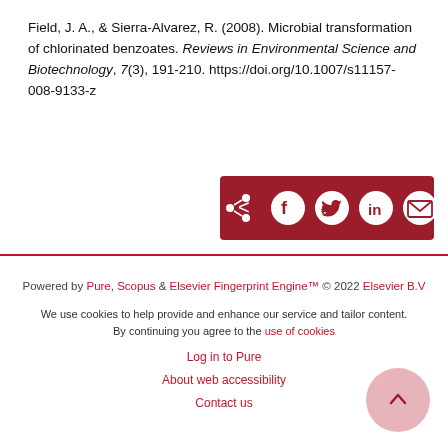Field, J. A., & Sierra-Alvarez, R. (2008). Microbial transformation of chlorinated benzoates. Reviews in Environmental Science and Biotechnology, 7(3), 191-210. https://doi.org/10.1007/s11157-008-9133-z
[Figure (other): Social share bar with icons for share, Facebook, Twitter, LinkedIn, and email on a dark red background]
Powered by Pure, Scopus & Elsevier Fingerprint Engine™ © 2022 Elsevier B.V
We use cookies to help provide and enhance our service and tailor content. By continuing you agree to the use of cookies
Log in to Pure
About web accessibility
Contact us